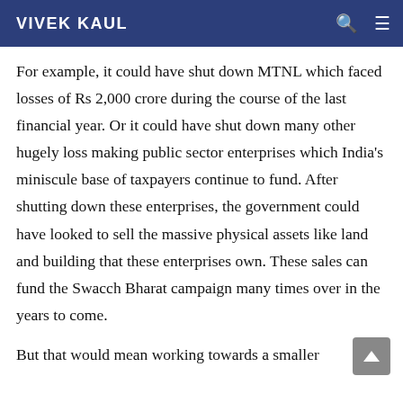VIVEK KAUL
For example, it could have shut down MTNL which faced losses of Rs 2,000 crore during the course of the last financial year. Or it could have shut down many other hugely loss making public sector enterprises which India’s miniscule base of taxpayers continue to fund. After shutting down these enterprises, the government could have looked to sell the massive physical assets like land and building that these enterprises own. These sales can fund the Swacch Bharat campaign many times over in the years to come.
But that would mean working towards a smaller